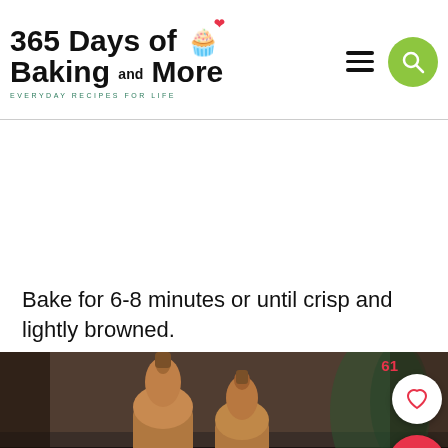365 Days of Baking and More — EVERYDAY RECIPES FOR LIFE
Bake for 6-8 minutes or until crisp and lightly browned.
[Figure (photo): Two wooden pepper/salt mills (shakers) on a dark kitchen counter with a green plant in background]
ww°